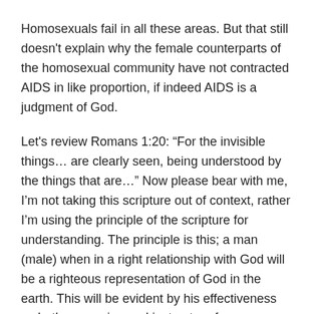Homosexuals fail in all these areas. But that still doesn't explain why the female counterparts of the homosexual community have not contracted AIDS in like proportion, if indeed AIDS is a judgment of God.
Let's review Romans 1:20: “For the invisible things… are clearly seen, being understood by the things that are…” Now please bear with me, I’m not taking this scripture out of context, rather I’m using the principle of the scripture for understanding. The principle is this; a man (male) when in a right relationship with God will be a righteous representation of God in the earth. This will be evident by his effectiveness as both a covering and instructor of righteousness to his wife and children. The woman, in turn, will happily love her husband with submissive service. The children, if properly instructed in